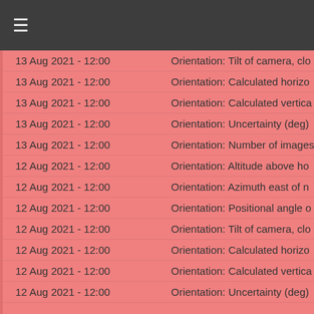≡
| Date | Description |
| --- | --- |
| 13 Aug 2021 - 12:00 | Orientation: Tilt of camera, clo... |
| 13 Aug 2021 - 12:00 | Orientation: Calculated horizon... |
| 13 Aug 2021 - 12:00 | Orientation: Calculated vertica... |
| 13 Aug 2021 - 12:00 | Orientation: Uncertainty (deg) |
| 13 Aug 2021 - 12:00 | Orientation: Number of images... |
| 12 Aug 2021 - 12:00 | Orientation: Altitude above ho... |
| 12 Aug 2021 - 12:00 | Orientation: Azimuth east of no... |
| 12 Aug 2021 - 12:00 | Orientation: Positional angle o... |
| 12 Aug 2021 - 12:00 | Orientation: Tilt of camera, clo... |
| 12 Aug 2021 - 12:00 | Orientation: Calculated horizon... |
| 12 Aug 2021 - 12:00 | Orientation: Calculated vertica... |
| 12 Aug 2021 - 12:00 | Orientation: Uncertainty (deg) |